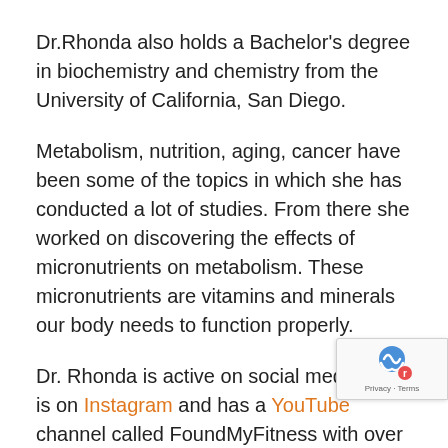Dr.Rhonda also holds a Bachelor's degree in biochemistry and chemistry from the University of California, San Diego.
Metabolism, nutrition, aging, cancer have been some of the topics in which she has conducted a lot of studies. From there she worked on discovering the effects of micronutrients on metabolism. These micronutrients are vitamins and minerals our body needs to function properly.
Dr. Rhonda is active on social media, she is on Instagram and has a YouTube channel called FoundMyFitness with over 200 thousand subscribers. She uses social media to engage in educating the general population about nutrition, metabolism and other important subjects.